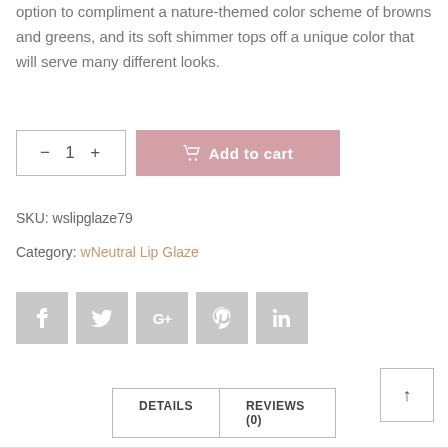option to compliment a nature-themed color scheme of browns and greens, and its soft shimmer tops off a unique color that will serve many different looks.
[Figure (infographic): Quantity selector showing minus, 1, plus; and an Add to cart button in dusty pink with shopping cart icon]
SKU: wslipglaze79
Category: wNeutral Lip Glaze
[Figure (infographic): Social media share icons: Facebook, Twitter, Google+, Pinterest, LinkedIn — all in grey square buttons]
[Figure (infographic): Scroll to top button — square with upward arrow]
DETAILS    REVIEWS (0)